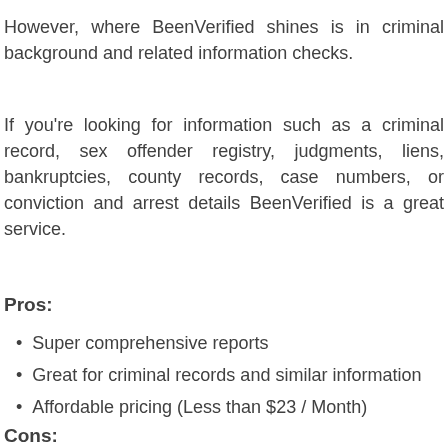However, where BeenVerified shines is in criminal background and related information checks.
If you're looking for information such as a criminal record, sex offender registry, judgments, liens, bankruptcies, county records, case numbers, or conviction and arrest details BeenVerified is a great service.
Pros:
Super comprehensive reports
Great for criminal records and similar information
Affordable pricing (Less than $23 / Month)
Cons: